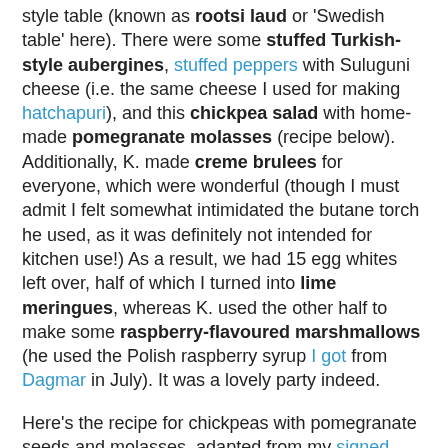style table (known as rootsi laud or 'Swedish table' here). There were some stuffed Turkish-style aubergines, stuffed peppers with Suluguni cheese (i.e. the same cheese I used for making hatchapuri), and this chickpea salad with home-made pomegranate molasses (recipe below). Additionally, K. made creme brulees for everyone, which were wonderful (though I must admit I felt somewhat intimidated the butane torch he used, as it was definitely not intended for kitchen use!) As a result, we had 15 egg whites left over, half of which I turned into lime meringues, whereas K. used the other half to make some raspberry-flavoured marshmallows (he used the Polish raspberry syrup I got from Dagmar in July). It was a lovely party indeed.
Here's the recipe for chickpeas with pomegranate seeds and molasses, adapted from my signed copy of Sam & Sam Clark's Casa Moro. Apparently it makes a lovely side dish to fish.
Chickpea salad with pomegranate molasses